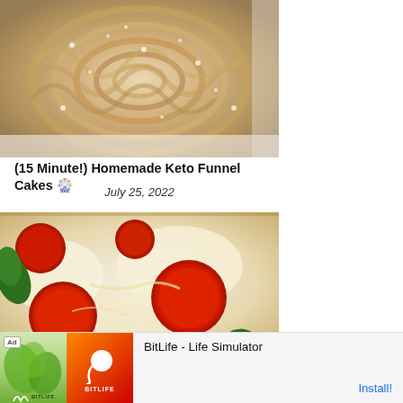[Figure (photo): Close-up overhead photo of a funnel cake dusted with powdered sugar, showing the swirled fried dough pattern on white parchment paper]
(15 Minute!) Homemade Keto Funnel Cakes 🎡
July 25, 2022
[Figure (photo): Close-up photo of pepperoni pizza with melted mozzarella cheese, red pepperoni slices, and green basil leaves]
[Figure (screenshot): Advertisement banner for BitLife - Life Simulator app showing Ad badge, app icon with sperm graphic on red/orange background, BITLIFE text, and Install button link]